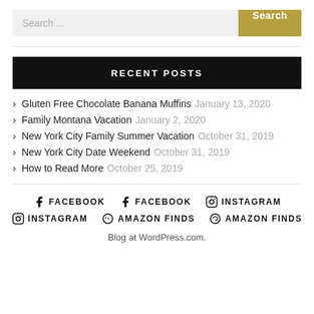Search ...
RECENT POSTS
Gluten Free Chocolate Banana Muffins January 13, 2020
Family Montana Vacation January 2, 2020
New York City Family Summer Vacation October 31, 2019
New York City Date Weekend October 31, 2019
How to Read More October 25, 2019
FACEBOOK FACEBOOK INSTAGRAM INSTAGRAM AMAZON FINDS AMAZON FINDS
Blog at WordPress.com.